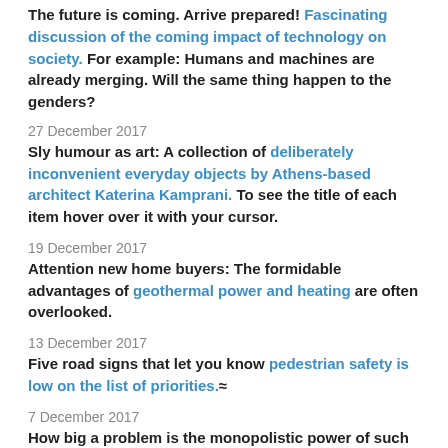The future is coming. Arrive prepared! Fascinating discussion of the coming impact of technology on society. For example: Humans and machines are already merging. Will the same thing happen to the genders?
27 December 2017
Sly humour as art: A collection of deliberately inconvenient everyday objects by Athens-based architect Katerina Kamprani. To see the title of each item hover over it with your cursor.
19 December 2017
Attention new home buyers: The formidable advantages of geothermal power and heating are often overlooked.
13 December 2017
Five road signs that let you know pedestrian safety is low on the list of priorities.≈
7 December 2017
How big a problem is the monopolistic power of such tech giants as Facebook, Google and Amazon? Is resistance building?
1 December 2017